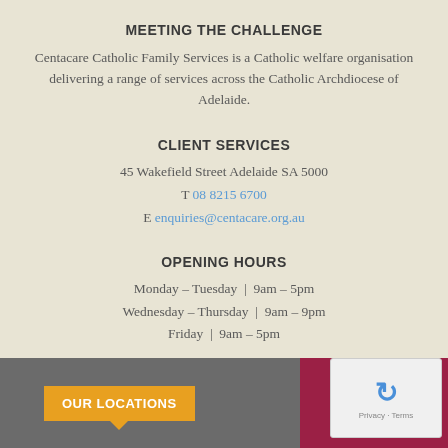MEETING THE CHALLENGE
Centacare Catholic Family Services is a Catholic welfare organisation delivering a range of services across the Catholic Archdiocese of Adelaide.
CLIENT SERVICES
45 Wakefield Street Adelaide SA 5000
T 08 8215 6700
E enquiries@centacare.org.au
OPENING HOURS
Monday – Tuesday | 9am – 5pm
Wednesday – Thursday | 9am – 9pm
Friday | 9am – 5pm
OUR LOCATIONS
Quick Exit